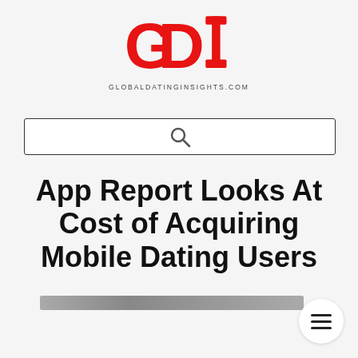[Figure (logo): GDI logo — large red bold letters G, D, I with globaldatinginsights.com text beneath]
[Figure (screenshot): Search bar with magnifying glass icon]
App Report Looks At Cost of Acquiring Mobile Dating Users
[Figure (photo): Top edge of an image strip visible at bottom of page]
[Figure (other): Hamburger menu button (three horizontal lines) in a white circle, bottom right corner]